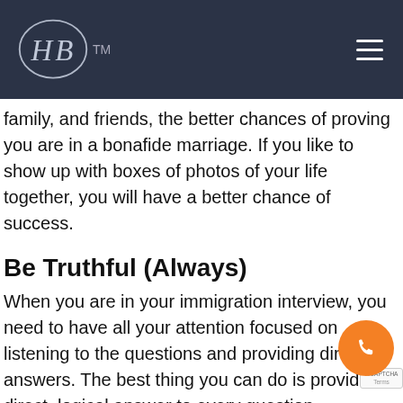[Figure (logo): HB logo in oval with TM mark on dark navy header bar with hamburger menu icon]
family, and friends, the better chances of proving you are in a bonafide marriage. If you like to show up with boxes of photos of your life together, you will have a better chance of success.
Be Truthful (Always)
When you are in your immigration interview, you need to have all your attention focused on listening to the questions and providing direct answers. The best thing you can do is provide a direct, logical answer to every question.
A proper example for this is when the officer will ask a question and you give them the answer to another. Like in the instance “When did you get into to the USA?”